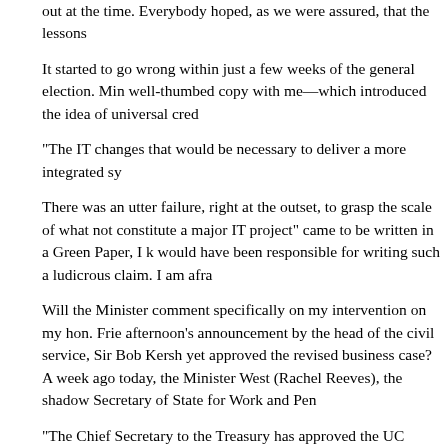out at the time. Everybody hoped, as we were assured, that the lessons
It started to go wrong within just a few weeks of the general election. Min well-thumbed copy with me—which introduced the idea of universal cred
“The IT changes that would be necessary to deliver a more integrated sy
There was an utter failure, right at the outset, to grasp the scale of what not constitute a major IT project” came to be written in a Green Paper, I k would have been responsible for writing such a ludicrous claim. I am afra
Will the Minister comment specifically on my intervention on my hon. Frie afternoon’s announcement by the head of the civil service, Sir Bob Kersh yet approved the revised business case? A week ago today, the Minister West (Rachel Reeves), the shadow Secretary of State for Work and Pen
“The Chief Secretary to the Treasury has approved the UC Strategic Out per the ministerial announcement (5 December 2013, Official Report, co
The Minister said that the Treasury had agreed the business case, but to Treasury has not agreed the business case. The Minister owes us an ex head of the civil service has said today.
The project has suffered from three levels of failure: policy failure, delive policy failure is perhaps the most serious one. As the hon. Member for H the point of universal credit was to make sure that people would be bette some other reason. However, the difficulty involved in achieving that app delivering it has therefore never been done.